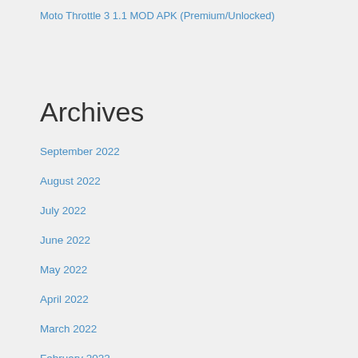Moto Throttle 3 1.1 MOD APK (Premium/Unlocked)
Archives
September 2022
August 2022
July 2022
June 2022
May 2022
April 2022
March 2022
February 2022